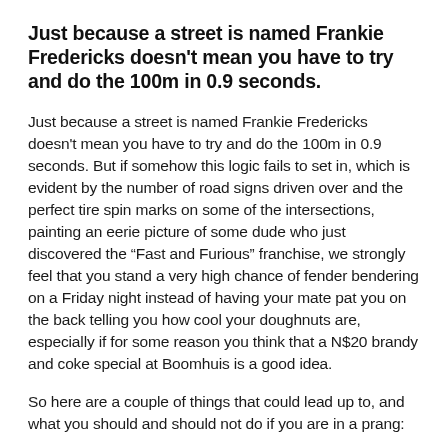Just because a street is named Frankie Fredericks doesn't mean you have to try and do the 100m in 0.9 seconds.
Just because a street is named Frankie Fredericks doesn't mean you have to try and do the 100m in 0.9 seconds. But if somehow this logic fails to set in, which is evident by the number of road signs driven over and the perfect tire spin marks on some of the intersections, painting an eerie picture of some dude who just discovered the “Fast and Furious” franchise, we strongly feel that you stand a very high chance of fender bendering on a Friday night instead of having your mate pat you on the back telling you how cool your doughnuts are, especially if for some reason you think that a N$20 brandy and coke special at Boomhuis is a good idea.
So here are a couple of things that could lead up to, and what you should and should not do if you are in a prang:
Firstly, if you had one too many “lang arm sappies” and